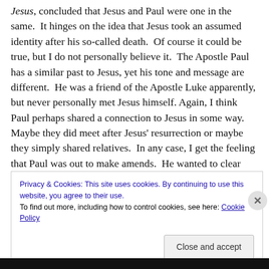Jesus, concluded that Jesus and Paul were one in the same.  It hinges on the idea that Jesus took an assumed identity after his so-called death.  Of course it could be true, but I do not personally believe it.  The Apostle Paul has a similar past to Jesus, yet his tone and message are different.  He was a friend of the Apostle Luke apparently, but never personally met Jesus himself. Again, I think Paul perhaps shared a connection to Jesus in some way.  Maybe they did meet after Jesus' resurrection or maybe they simply shared relatives.  In any case, I get the feeling that Paul was out to make amends.  He wanted to clear
Privacy & Cookies: This site uses cookies. By continuing to use this website, you agree to their use.
To find out more, including how to control cookies, see here: Cookie Policy